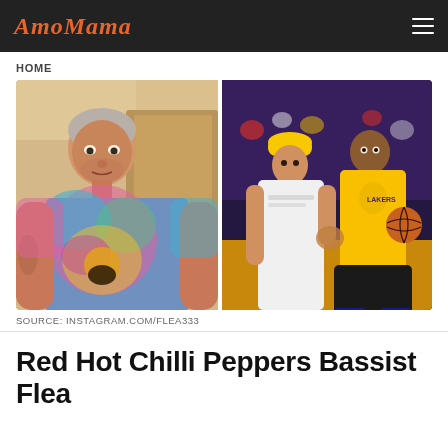AmoMama
HOME
[Figure (photo): Left: Man in tie-dye shirt with gray beard in outdoor setting. Right: Two men on a basketball court, one in white shirt and yellow Lakers cap, the other in a yellow Lakers jersey holding a basketball.]
SOURCE: INSTAGRAM.COM/FLEA333
Red Hot Chilli Peppers Bassist Flea